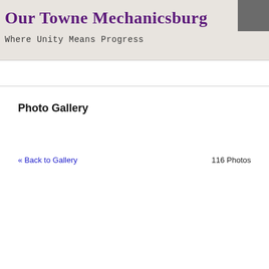Our Towne Mechanicsburg
Where Unity Means Progress
Photo Gallery
« Back to Gallery
116 Photos